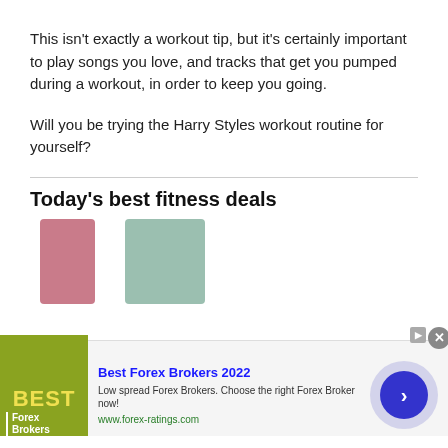This isn't exactly a workout tip, but it's certainly important to play songs you love, and tracks that get you pumped during a workout, in order to keep you going.
Will you be trying the Harry Styles workout routine for yourself?
Today's best fitness deals
[Figure (photo): Two product images: a pink item on the left and a person wearing mint/sage green leggings on the right]
[Figure (infographic): Advertisement banner: Best Forex Brokers 2022. Low spread Forex Brokers. Choose the right Forex Broker now! www.forex-ratings.com]